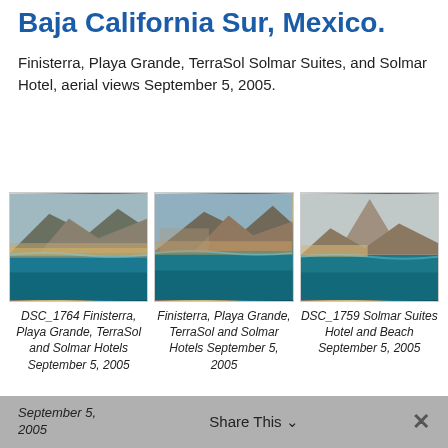Baja California Sur, Mexico.
Finisterra, Playa Grande, TerraSol Solmar Suites, and Solmar Hotel, aerial views September 5, 2005.
[Figure (photo): Aerial photo of Baja California Sur coastline showing rocky promontory, beach, and turquoise water]
DSC_1764 Finisterra, Playa Grande, TerraSol and Solmar Hotels September 5, 2005
[Figure (photo): Aerial photo of Finisterra, Playa Grande area with rocky cliffs meeting the sea]
Finisterra, Playa Grande, TerraSol and Solmar Hotels September 5, 2005
[Figure (photo): Aerial photo of Solmar Suites Hotel and Beach area with distinctive rocky pinnacle]
DSC_1759 Solmar Suites Hotel and Beach September 5, 2005
September 5, 2005   Share This   ×